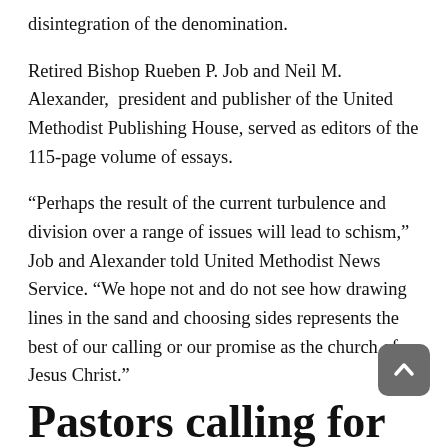disintegration of the denomination.
Retired Bishop Rueben P. Job and Neil M. Alexander, president and publisher of the United Methodist Publishing House, served as editors of the 115-page volume of essays.
“Perhaps the result of the current turbulence and division over a range of issues will lead to schism,” Job and Alexander told United Methodist News Service. “We hope not and do not see how drawing lines in the sand and choosing sides represents the best of our calling or our promise as the church of Jesus Christ.”
Pastors calling for